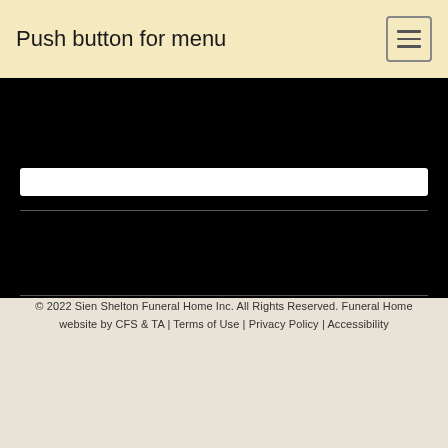Push button for menu
Sign Up
© 2022 Sien Shelton Funeral Home Inc. All Rights Reserved. Funeral Home website by CFS & TA | Terms of Use | Privacy Policy | Accessibility